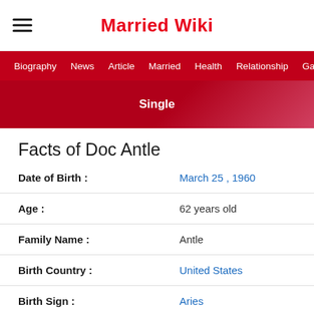Married Wiki
Biography  News  Article  Married  Health  Relationship  Ga
Single
Facts of Doc Antle
| Field | Value |
| --- | --- |
| Date of Birth : | March 25 , 1960 |
| Age : | 62 years old |
| Family Name : | Antle |
| Birth Country : | United States |
| Birth Sign : | Aries |